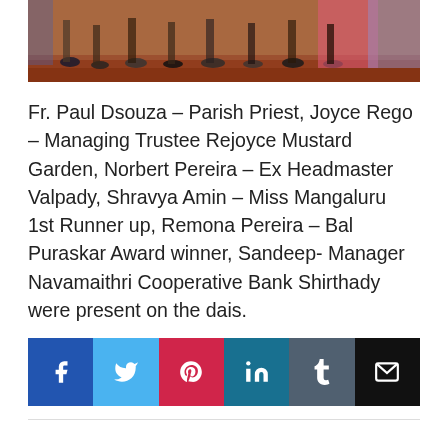[Figure (photo): Bottom portion of a group photo showing people's feet and lower legs standing on a wooden floor, with colorful clothing visible including a pink/red garment on the right.]
Fr. Paul Dsouza – Parish Priest, Joyce Rego – Managing Trustee Rejoyce Mustard Garden, Norbert Pereira – Ex Headmaster Valpady, Shravya Amin – Miss Mangaluru 1st Runner up, Remona Pereira – Bal Puraskar Award winner, Sandeep- Manager Navamaithri Cooperative Bank Shirthady were present on the dais.
[Figure (infographic): Social media share buttons row: Facebook (blue), Twitter (light blue), Pinterest (red), LinkedIn (teal), Tumblr (slate), Email (black)]